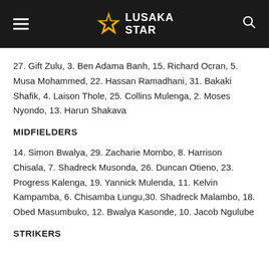Lusaka Star
27. Gift Zulu, 3. Ben Adama Banh, 15. Richard Ocran, 5. Musa Mohammed, 22. Hassan Ramadhani, 31. Bakaki Shafik, 4. Laison Thole, 25. Collins Mulenga, 2. Moses Nyondo, 13. Harun Shakava
MIDFIELDERS
14. Simon Bwalya, 29. Zacharie Mombo, 8. Harrison Chisala, 7. Shadreck Musonda, 26. Duncan Otieno, 23. Progress Kalenga, 19. Yannick Mulenda, 11. Kelvin Kampamba, 6. Chisamba Lungu,30. Shadreck Malambo, 18. Obed Masumbuko, 12. Bwalya Kasonde, 10. Jacob Ngulube
STRIKERS